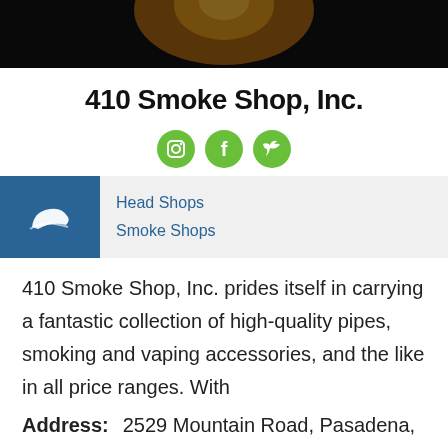[Figure (photo): Dark banner image with warm amber/orange glow, appears to be a store or light fixture photo]
410 Smoke Shop, Inc.
[Figure (infographic): Three green circular social media icons: Instagram, Facebook, Twitter]
Head Shops
Smoke Shops
410 Smoke Shop, Inc. prides itself in carrying a fantastic collection of high-quality pipes, smoking and vaping accessories, and the like in all price ranges. With
Address:   2529 Mountain Road, Pasadena,